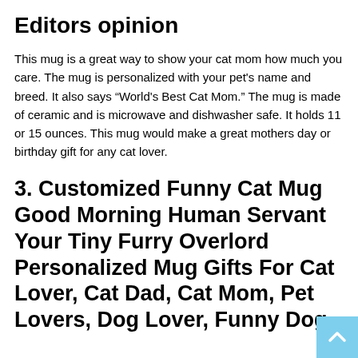Editors opinion
This mug is a great way to show your cat mom how much you care. The mug is personalized with your pet's name and breed. It also says “World's Best Cat Mom.” The mug is made of ceramic and is microwave and dishwasher safe. It holds 11 or 15 ounces. This mug would make a great mothers day or birthday gift for any cat lover.
3. Customized Funny Cat Mug Good Morning Human Servant Your Tiny Furry Overlord Personalized Mug Gifts For Cat Lover, Cat Dad, Cat Mom, Pet Lovers, Dog Lover, Funny Dog